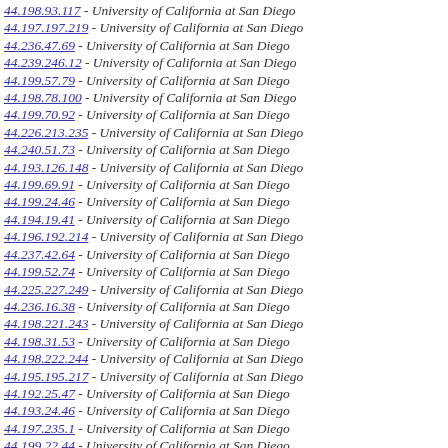44.198.93.117 - University of California at San Diego
44.197.197.219 - University of California at San Diego
44.236.47.69 - University of California at San Diego
44.239.246.12 - University of California at San Diego
44.199.57.79 - University of California at San Diego
44.198.78.100 - University of California at San Diego
44.199.70.92 - University of California at San Diego
44.226.213.235 - University of California at San Diego
44.240.51.73 - University of California at San Diego
44.193.126.148 - University of California at San Diego
44.199.69.91 - University of California at San Diego
44.199.24.46 - University of California at San Diego
44.194.19.41 - University of California at San Diego
44.196.192.214 - University of California at San Diego
44.237.42.64 - University of California at San Diego
44.199.52.74 - University of California at San Diego
44.225.227.249 - University of California at San Diego
44.236.16.38 - University of California at San Diego
44.198.221.243 - University of California at San Diego
44.198.31.53 - University of California at San Diego
44.198.222.244 - University of California at San Diego
44.195.195.217 - University of California at San Diego
44.192.25.47 - University of California at San Diego
44.193.24.46 - University of California at San Diego
44.197.235.1 - University of California at San Diego
44.199.22.44 - University of California at San Diego
44.194.69.91 - University of California at San Diego
44.193.57.79 - University of California at San Diego
44.198.83.105 - University of California at San Diego
44.196.235.1 - University of California at San Diego
44.198.226.248 - University of California at San Diego